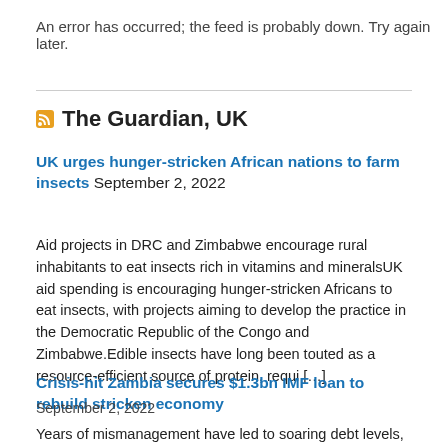An error has occurred; the feed is probably down. Try again later.
The Guardian, UK
UK urges hunger-stricken African nations to farm insects September 2, 2022
Aid projects in DRC and Zimbabwe encourage rural inhabitants to eat insects rich in vitamins and mineralsUK aid spending is encouraging hunger-stricken Africans to eat insects, with projects aiming to develop the practice in the Democratic Republic of the Congo and Zimbabwe.Edible insects have long been touted as a resource-efficient source of protein, requi […]
Crisis-hit Zambia secures $1.3bn IMF loan to rebuild stricken economy
September 2, 2022
Years of mismanagement have led to soaring debt levels, but critics say that without meaningful relief, austerity will continueThe International Monetary Fund has approved a $1.3bn (£1.1bn) loan to Zambia, as the country scrambles to rebuild its crisis-hit economy after defaulting on its foreign debts in 2020.The Covid pandemic compounded Zambia's